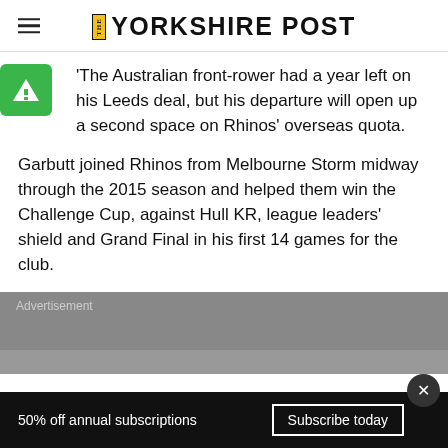THE YORKSHIRE POST
'The Australian front-rower had a year left on his Leeds deal, but his departure will open up a second space on Rhinos' overseas quota.
Garbutt joined Rhinos from Melbourne Storm midway through the 2015 season and helped them win the Challenge Cup, against Hull KR, league leaders' shield and Grand Final in his first 14 games for the club.
Advertisement
50% off annual subscriptions  Subscribe today